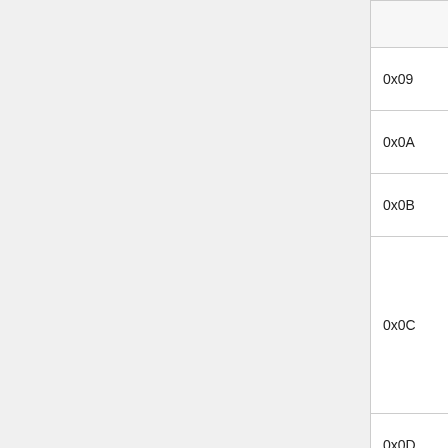| Code | Command | Response |
| --- | --- | --- |
|  |  |  |
| 0x09 | bestat | (PowerOff St... |
| 0x0A | powersw | (END) |
| 0x0B | resetsw | (END) |
| 0x0C | bootbeep stat | BOOT BEEP... |
| 0x0D | bootbeep on | BOOT BEEP... |
| 0x0E | bootbeep off | BOOT BEEP... (END) |
| 0x0F | Reset syscon |  |
| 0x10 | xdrdiag info | 32\n (END) |
| 0x11 | xdrdiag start | DIAG START... |
|  |  |  |